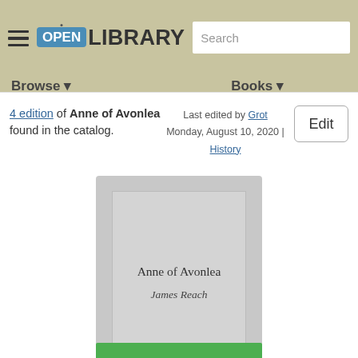Open Library — Browse | Books
4 edition of Anne of Avonlea found in the catalog.
Last edited by Grot
Monday, August 10, 2020 | History
Edit
[Figure (illustration): Placeholder book cover showing title 'Anne of Avonlea' and author 'James Reach' on a grey background]
Anne of Avonlea
James Reach